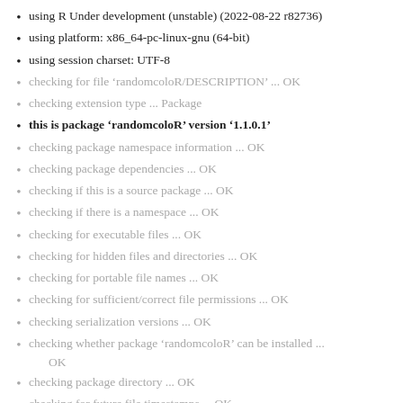using R Under development (unstable) (2022-08-22 r82736)
using platform: x86_64-pc-linux-gnu (64-bit)
using session charset: UTF-8
checking for file ‘randomcoloR/DESCRIPTION’ ... OK
checking extension type ... Package
this is package ‘randomcoloR’ version ‘1.1.0.1’
checking package namespace information ... OK
checking package dependencies ... OK
checking if this is a source package ... OK
checking if there is a namespace ... OK
checking for executable files ... OK
checking for hidden files and directories ... OK
checking for portable file names ... OK
checking for sufficient/correct file permissions ... OK
checking serialization versions ... OK
checking whether package ‘randomcoloR’ can be installed ... OK
checking package directory ... OK
checking for future file timestamps ... OK
checking DESCRIPTION meta-information ... OK
checking top-level files ... OK
checking for left-over files ... OK
checking index information ... OK
checking package subdirectories ... OK